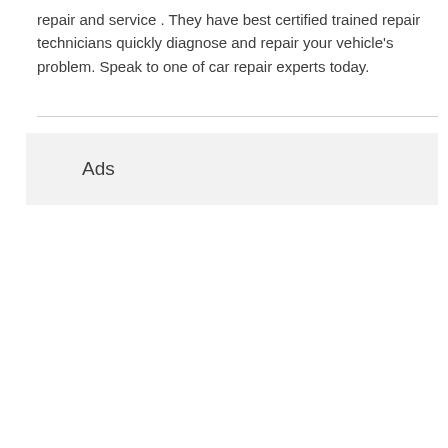repair and service . They have best certified trained repair technicians quickly diagnose and repair your vehicle's problem. Speak to one of car repair experts today.
Ads